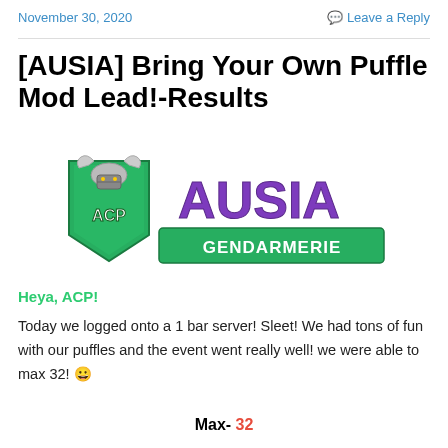November 30, 2020   Leave a Reply
[AUSIA] Bring Your Own Puffle Mod Lead!-Results
[Figure (logo): ACP AUSIA Gendarmerie logo — green shield with 'ACP' text and Viking helmet, purple 'AUSIA' text, 'GENDARMERIE' on green banner]
Heya, ACP!
Today we logged onto a 1 bar server! Sleet! We had tons of fun with our puffles and the event went really well! we were able to max 32! 😀
Max- 32